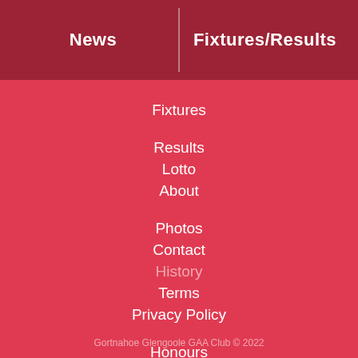News | Fixtures/Results
Fixtures
Results
Lotto
About
Photos
Contact
History
Terms
Privacy Policy
Honours
Rory
Membership
Club Shop
Gortnahoe Glengoole GAA Club © 2022